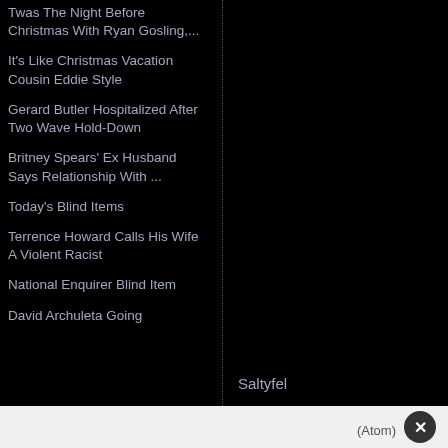Twas The Night Before Christmas With Ryan Gosling,...
It's Like Christmas Vacation Cousin Eddie Style
Gerard Butler Hospitalized After Two Wave Hold-Down
Britney Spears' Ex Husband Says Relationship With ...
Today's Blind Items
Terrence Howard Calls His Wife A Violent Racist
National Enquirer Blind Item
David Archuleta Going
Saltyfel
(Atom)